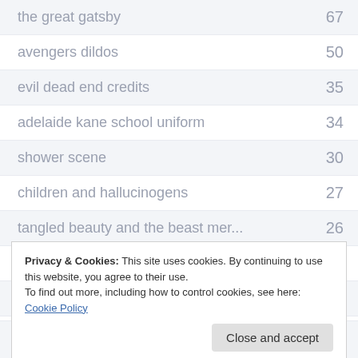| Search Term | Count |
| --- | --- |
| the great gatsby | 67 |
| avengers dildos | 50 |
| evil dead end credits | 35 |
| adelaide kane school uniform | 34 |
| shower scene | 30 |
| children and hallucinogens | 27 |
| tangled beauty and the beast mer... | 26 |
| baby mike wazowski | 22 |
| mind bending movies | 18 |
Privacy & Cookies: This site uses cookies. By continuing to use this website, you agree to their use.
To find out more, including how to control cookies, see here: Cookie Policy
Close and accept
mike wazowski baby   12